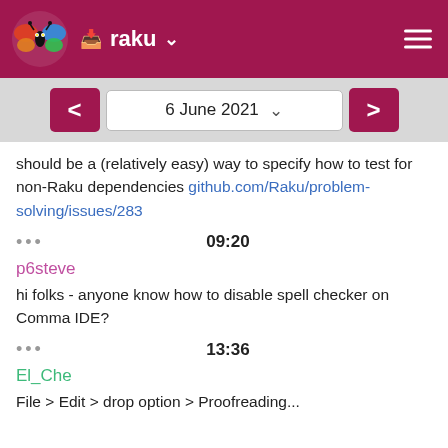raku
should be a (relatively easy) way to specify how to test for non-Raku dependencies github.com/Raku/problem-solving/issues/283
••• 09:20
p6steve
hi folks - anyone know how to disable spell checker on Comma IDE?
••• 13:36
El_Che
File > Edit > drop option > Proofreading...